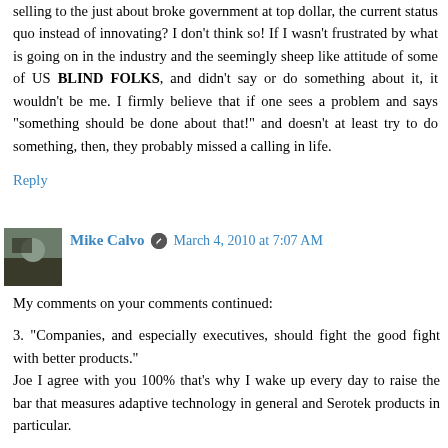selling to the just about broke government at top dollar, the current status quo instead of innovating? I don't think so! If I wasn't frustrated by what is going on in the industry and the seemingly sheep like attitude of some of US BLIND FOLKS, and didn't say or do something about it, it wouldn't be me. I firmly believe that if one sees a problem and says "something should be done about that!" and doesn't at least try to do something, then, they probably missed a calling in life.
Reply
Mike Calvo   March 4, 2010 at 7:07 AM
My comments on your comments continued:

3. "Companies, and especially executives, should fight the good fight with better products."
Joe I agree with you 100% that's why I wake up every day to raise the bar that measures adaptive technology in general and Serotek products in particular.

4. "When one encounters vehement language of the type